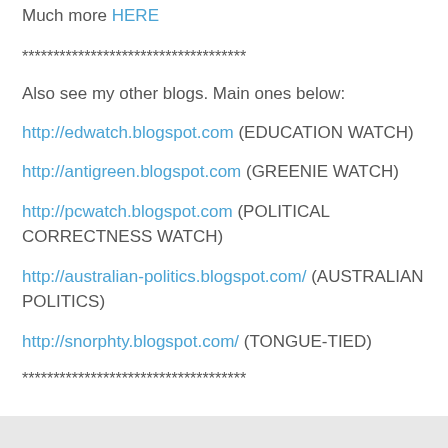Much more HERE
************************************
Also see my other blogs. Main ones below:
http://edwatch.blogspot.com (EDUCATION WATCH)
http://antigreen.blogspot.com (GREENIE WATCH)
http://pcwatch.blogspot.com (POLITICAL CORRECTNESS WATCH)
http://australian-politics.blogspot.com/ (AUSTRALIAN POLITICS)
http://snorphty.blogspot.com/ (TONGUE-TIED)
************************************